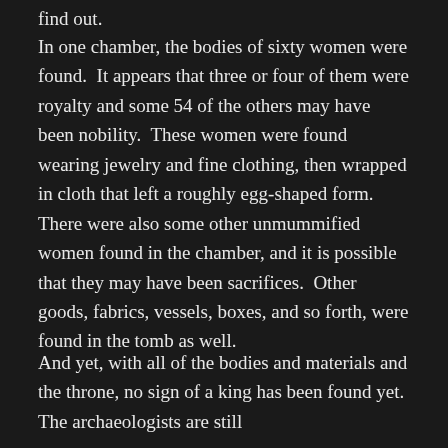find out.
In one chamber, the bodies of sixty women were found.  It appears that three or four of them were royalty and some 54 of the others may have been nobility.  These women were found wearing jewelry and fine clothing, then wrapped in cloth that left a roughly egg-shaped form.  There were also some other unmummified women found in the chamber, and it is possible that they may have been sacrifices.  Other goods, fabrics, vessels, boxes, and so forth, were found in the tomb as well.
And yet, with all of the bodies and materials and the throne, no sign of a king has been found yet.  The archaeologists are still